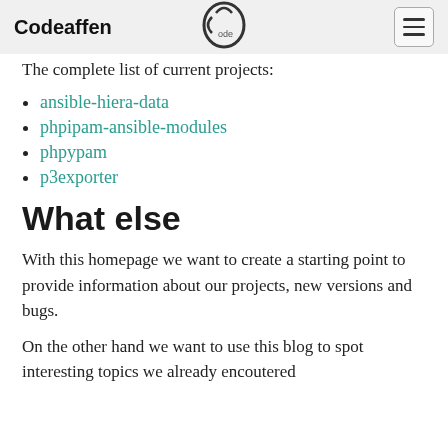Codeaffen
The complete list of current projects:
ansible-hiera-data
phpipam-ansible-modules
phpypam
p3exporter
What else
With this homepage we want to create a starting point to provide information about our projects, new versions and bugs.
On the other hand we want to use this blog to spot interesting topics we already encoutered